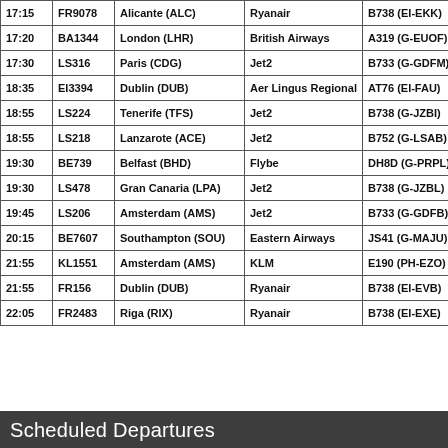| Time | Flight | Destination | Airline | Aircraft |
| --- | --- | --- | --- | --- |
| 17:15 | FR9078 | Alicante (ALC) | Ryanair | B738 (EI-EKK) |
| 17:20 | BA1344 | London (LHR) | British Airways | A319 (G-EUOF) |
| 17:30 | LS316 | Paris (CDG) | Jet2 | B733 (G-GDFM) |
| 18:35 | EI3394 | Dublin (DUB) | Aer Lingus Regional | AT76 (EI-FAU) |
| 18:55 | LS224 | Tenerife (TFS) | Jet2 | B738 (G-JZBI) |
| 18:55 | LS218 | Lanzarote (ACE) | Jet2 | B752 (G-LSAB) |
| 19:30 | BE739 | Belfast (BHD) | Flybe | DH8D (G-PRPL) |
| 19:30 | LS478 | Gran Canaria (LPA) | Jet2 | B738 (G-JZBL) |
| 19:45 | LS206 | Amsterdam (AMS) | Jet2 | B733 (G-GDFB) |
| 20:15 | BE7607 | Southampton (SOU) | Eastern Airways | JS41 (G-MAJU) |
| 21:55 | KL1551 | Amsterdam (AMS) | KLM | E190 (PH-EZO) |
| 21:55 | FR156 | Dublin (DUB) | Ryanair | B738 (EI-EVB) |
| 22:05 | FR2483 | Riga (RIX) | Ryanair | B738 (EI-EXE) |
Scheduled Departures